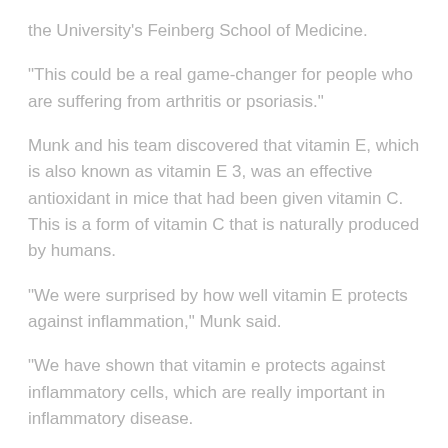the University's Feinberg School of Medicine.
"This could be a real game-changer for people who are suffering from arthritis or psoriasis."
Munk and his team discovered that vitamin E, which is also known as vitamin E 3, was an effective antioxidant in mice that had been given vitamin C. This is a form of vitamin C that is naturally produced by humans.
"We were surprised by how well vitamin E protects against inflammation," Munk said.
"We have shown that vitamin e protects against inflammatory cells, which are really important in inflammatory disease.
We have shown it protects against macrophages and the type of